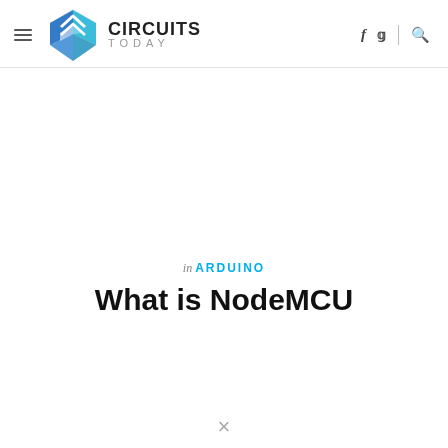Circuits Today — Navigation header with logo, hamburger menu, social icons (f, twitter), and search icon
[Figure (logo): Circuits Today logo: diamond/chevron shaped icon in blue gradient, with CIRCUITS in bold dark text and TODAY in spaced gray letters]
in ARDUINO
What is NodeMCU